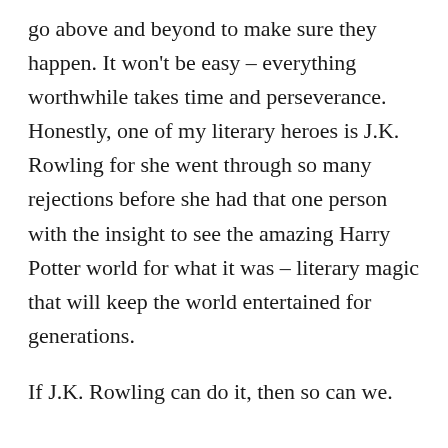go above and beyond to make sure they happen. It won't be easy – everything worthwhile takes time and perseverance. Honestly, one of my literary heroes is J.K. Rowling for she went through so many rejections before she had that one person with the insight to see the amazing Harry Potter world for what it was – literary magic that will keep the world entertained for generations.
If J.K. Rowling can do it, then so can we.